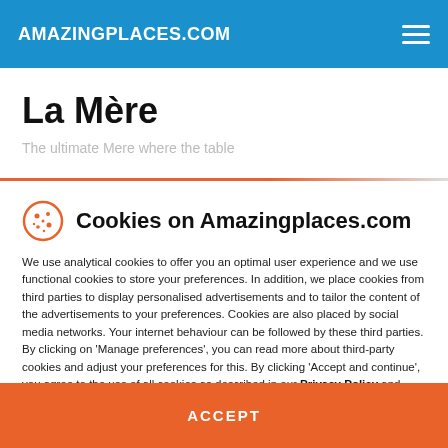AMAZINGPLACES.COM
La Mère
The ultimate Mere where the table...
Cookies on Amazingplaces.com
We use analytical cookies to offer you an optimal user experience and we use functional cookies to store your preferences. In addition, we place cookies from third parties to display personalised advertisements and to tailor the content of the advertisements to your preferences. Cookies are also placed by social media networks. Your internet behaviour can be followed by these third parties. By clicking on 'Manage preferences', you can read more about third-party cookies and adjust your preferences for this. By clicking 'Accept and continue', you agree to the use of all cookies as described in our Privacy Policy and Cookie Policy.
MANAGE PREFERENCES
ACCEPT